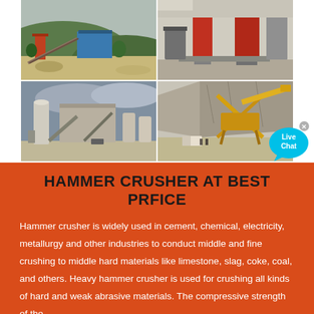[Figure (photo): Four industrial photos of hammer crusher/mining equipment installations: top-left shows an outdoor mining/quarry facility with conveyors and structures on a hillside; top-right shows large industrial vertical crushers/mills in a factory setting; bottom-left shows a large industrial plant with silos and conveyors; bottom-right shows yellow crusher equipment at a quarry with mountains in the background.]
HAMMER CRUSHER AT BEST PRFICE
Hammer crusher is widely used in cement, chemical, electricity, metallurgy and other industries to conduct middle and fine crushing to middle hard materials like limestone, slag, coke, coal, and others. Heavy hammer crusher is used for crushing all kinds of hard and weak abrasive materials. The compressive strength of the